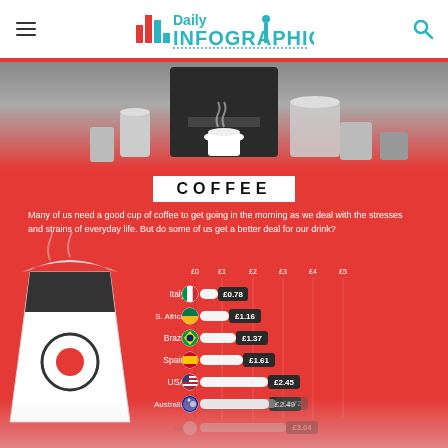Daily Infographic
COFFEE
Many of us need a good cup of coffee to get going in the morning as we deal with the stresses and strains of everyday life. But do some of us get a better deal for our drink?
[Figure (bar-chart): Coffee prices by country]